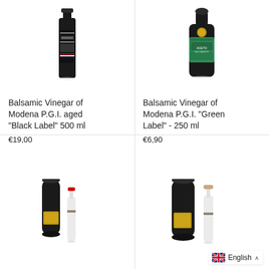[Figure (photo): Bottle of Balsamic Vinegar of Modena P.G.I. aged Black Label 500ml, dark bottle with black label]
[Figure (photo): Bottle of Balsamic Vinegar of Modena P.G.I. Green Label 250ml, dark bottle with teal/green label]
Balsamic Vinegar of Modena P.G.I. aged "Black Label" 500 ml
€19,00
Balsamic Vinegar of Modena P.G.I. "Green Label" - 250 ml
€6,90
[Figure (photo): Balsamic vinegar product in black cylindrical tube packaging with glass bottle, red-capped, and gold label]
[Figure (photo): Balsamic vinegar product in black cylindrical tube packaging with glass bottle, beige/cork-capped, and gold label]
English